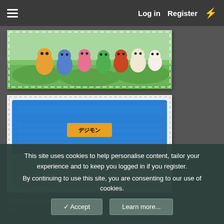Log in  Register
[Figure (illustration): Digimon Adventure characters banner image showing various Digimon characters on a grassy background with dashed border]
[Figure (illustration): Blue Digimon card holder / envelope with Digimon logo on blue background and light blue pocket below]
A holder for items like masks, tickets, receipts, etc. featuring the
This site uses cookies to help personalise content, tailor your experience and to keep you logged in if you register.
By continuing to use this site, you are consenting to our use of cookies.
✓ Accept   Learn more...